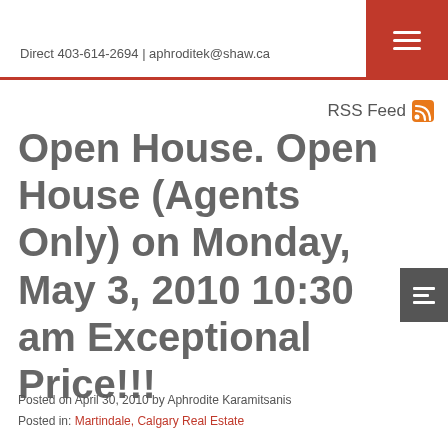Direct 403-614-2694 | aphroditek@shaw.ca
Open House. Open House (Agents Only) on Monday, May 3, 2010 10:30 am Exceptional Price!!!
Posted on April 30, 2010 by Aphrodite Karamitsanis
Posted in: Martindale, Calgary Real Estate